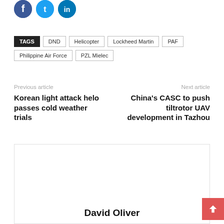[Figure (other): Social media icons: Facebook (blue circle), Twitter (light blue circle), LinkedIn (dark blue circle)]
TAGS  DND  Helicopter  Lockheed Martin  PAF  Philippine Air Force  PZL Mielec
Previous article
Korean light attack helo passes cold weather trials
Next article
China's CASC to push tiltrotor UAV development in Tazhou
David Oliver